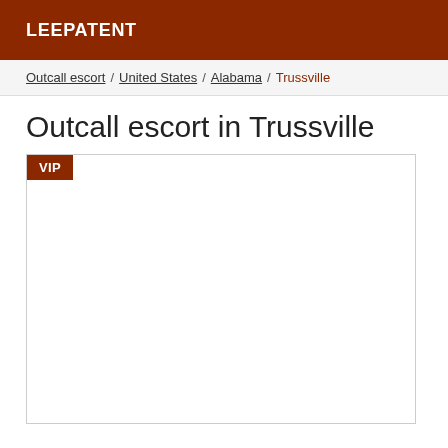LEEPATENT
Outcall escort / United States / Alabama / Trussville
Outcall escort in Trussville
[Figure (other): Listing card with VIP badge, white content area below]